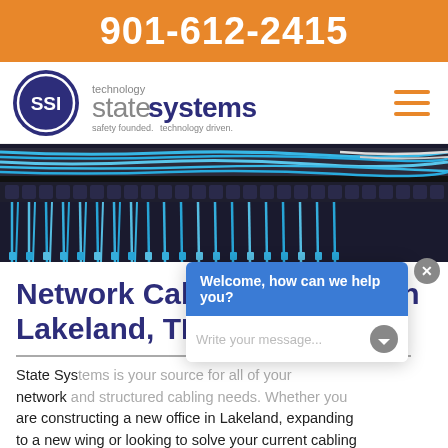901-612-2415
[Figure (logo): State Systems Technology logo with SSI circular badge and text 'state systems technology, safety founded. technology driven.']
[Figure (photo): Close-up photo of a network patch panel with numerous blue Ethernet cables plugged in, organized in a server rack.]
Network Cabling Services in Lakeland, TN
[Figure (screenshot): Chat popup overlay with blue header 'Welcome, how can we help you?' and input field 'Write your message...' with send button and close X button.]
State Systems is your source for all of your network and structured cabling needs. Whether you are constructing a new office in Lakeland, expanding to a new wing or looking to solve your current cabling